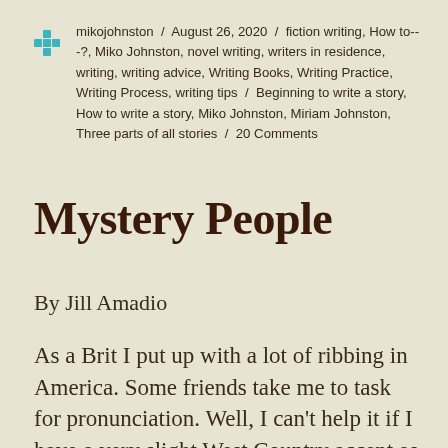mikojohnston / August 26, 2020 / fiction writing, How to---?, Miko Johnston, novel writing, writers in residence, writing, writing advice, Writing Books, Writing Practice, Writing Process, writing tips / Beginning to write a story, How to write a story, Miko Johnston, Miriam Johnston, Three parts of all stories / 20 Comments
Mystery People
By Jill Amadio
As a Brit I put up with a lot of ribbing in America. Some friends take me to task for pronunciation. Well, I can't help it if I have a very slight West Country accent as I am from Cornwall. To my amusement my accent is